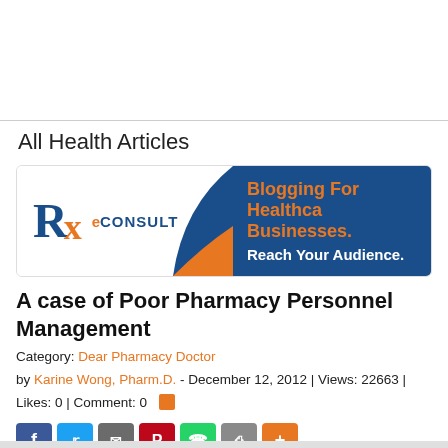All Health Articles
[Figure (logo): RxConsult banner - Blogging For Healthcare Businesses. Reach Your Audience.]
A case of Poor Pharmacy Personnel Management
Category: Dear Pharmacy Doctor
by Karine Wong, Pharm.D. - December 12, 2012 | Views: 22663 | Likes: 0 | Comment: 0
[Figure (infographic): Social share buttons: Facebook, Twitter, Email, Pinterest, WhatsApp, Print, More]